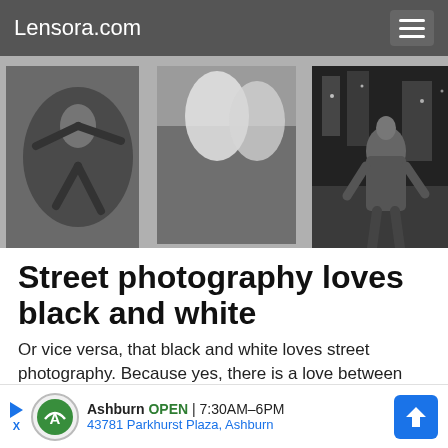Lensora.com
[Figure (photo): Three black and white street photography images side by side: a person falling/jumping viewed from above, a person resting feet up in a vehicle, and a man in a suit on a city street at night.]
Street photography loves black and white
Or vice versa, that black and white loves street photography. Because yes, there is a love between them. There is something about the black and white scale that is particularly appealing when it comes to street photography. Maybe it is because our world is so full of colors and impressions that the black and white scale brings out the simplicity of our streets. I do not know, but no article on
[Figure (screenshot): Advertisement banner: Auto repair shop 'Ashburn' open 7:30AM-6PM, address 43781 Parkhurst Plaza, Ashburn, with navigation arrow icon.]